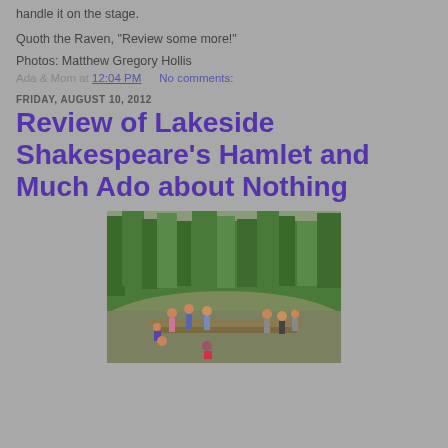handle it on the stage.
Quoth the Raven, "Review some more!"
Photos: Matthew Gregory Hollis
Ada & Mom at 12:04 PM    No comments:
FRIDAY, AUGUST 10, 2012
Review of Lakeside Shakespeare's Hamlet and Much Ado about Nothing
[Figure (photo): Outdoor forest theatre scene with actors performing on a wooden stage surrounded by trees]